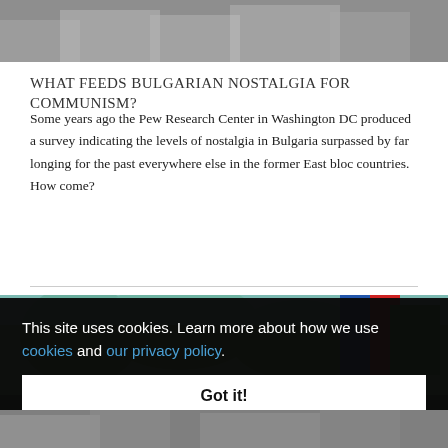[Figure (photo): Grayscale photograph of people, partially visible at top of page]
WHAT FEEDS BULGARIAN NOSTALGIA FOR COMMUNISM?
Some years ago the Pew Research Center in Washington DC produced a survey indicating the levels of nostalgia in Bulgaria surpassed by far longing for the past everywhere else in the former East bloc countries. How come?
[Figure (photo): Color photograph showing outdoor scene with trees and colorful flags including red and green flags, partially obscured by cookie consent banner]
This site uses cookies. Learn more about how we use cookies and our privacy policy.
Got it!
[Figure (photo): Color photograph of people at bottom of page, partially visible]